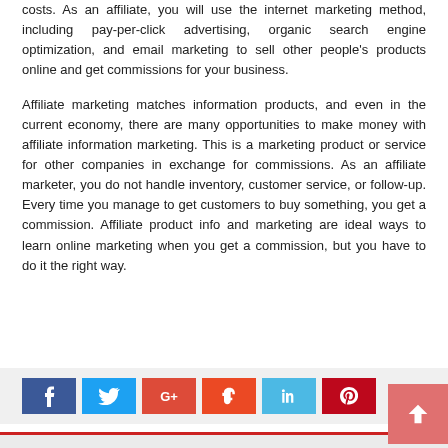costs. As an affiliate, you will use the internet marketing method, including pay-per-click advertising, organic search engine optimization, and email marketing to sell other people's products online and get commissions for your business.
Affiliate marketing matches information products, and even in the current economy, there are many opportunities to make money with affiliate information marketing. This is a marketing product or service for other companies in exchange for commissions. As an affiliate marketer, you do not handle inventory, customer service, or follow-up. Every time you manage to get customers to buy something, you get a commission. Affiliate product info and marketing are ideal ways to learn online marketing when you get a commission, but you have to do it the right way.
[Figure (other): Social share buttons row: Facebook (blue), Twitter (light blue), Google+ (red), StumbleUpon (orange-red), LinkedIn (light blue), Pinterest (red)]
ABOUT NIXON HOLLY